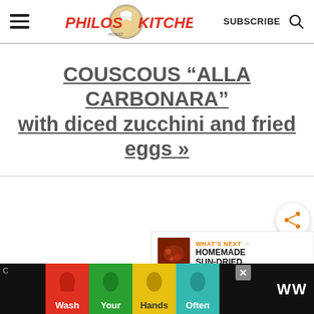[Figure (logo): Philos Kitchen logo with chef illustration in circular badge, red and yellow text]
COUSCOUS “ALLA CARBONARA” with diced zucchini and fried eggs »
[Figure (infographic): Share button (orange share icon on white circular background)]
[Figure (infographic): What's Next panel: image of sun-dried tomatoes with text WHAT'S NEXT -> HOMEMADE SUN-DRIED...]
[Figure (infographic): Ad banner: Wash Your Hands Often handwashing awareness campaign with colored hand panels and close button]